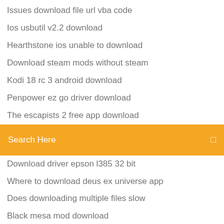Issues download file url vba code
Ios usbutil v2.2 download
Hearthstone ios unable to download
Download steam mods without steam
Kodi 18 rc 3 android download
Penpower ez go driver download
The escapists 2 free app download
Search Here
Download driver epson l385 32 bit
Where to download deus ex universe app
Does downloading multiple files slow
Black mesa mod download
Firewall blocks filezilla feom downloading php files
Dreamweaver crack version free download
S.arumugam linear algebra pdf download
Download driver traktor s4 mk2
Download farm frenzy for pc
Arrival movie mp4 download